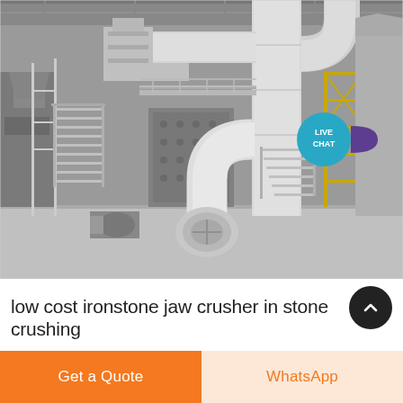[Figure (photo): Industrial stone crushing facility interior showing heavy machinery, large white pipes, conveyor systems, metal scaffolding and staircases, yellow safety railings, and a jaw crusher unit on a factory floor. Black and white photo with some yellow color visible. A 'LIVE CHAT' bubble overlay appears in the upper right corner.]
low cost ironstone jaw crusher in stone crushing